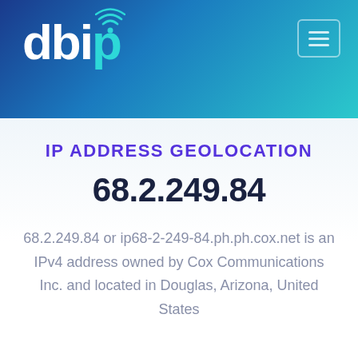[Figure (logo): db-ip.com logo with WiFi signal icon above the letter i, text 'dbip' in white and teal on a blue gradient header background, with a hamburger menu icon in the top right]
IP ADDRESS GEOLOCATION
68.2.249.84
68.2.249.84 or ip68-2-249-84.ph.ph.cox.net is an IPv4 address owned by Cox Communications Inc. and located in Douglas, Arizona, United States